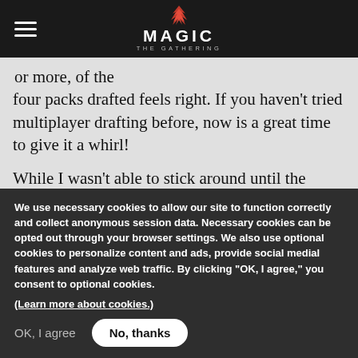Magic: The Gathering
...or more, of the four packs drafted feels right. If you haven't tried multiplayer drafting before, now is a great time to give it a whirl!
While I wasn't able to stick around until the infectious end to see what happened, I did catch a quick moment to peek at James's cards halfway through the draft. In the small pile of
We use necessary cookies to allow our site to function correctly and collect anonymous session data. Necessary cookies can be opted out through your browser settings. We also use optional cookies to personalize content and ads, provide social medial features and analyze web traffic. By clicking “OK, I agree,” you consent to optional cookies.
(Learn more about cookies.)
OK, I agree
No, thanks